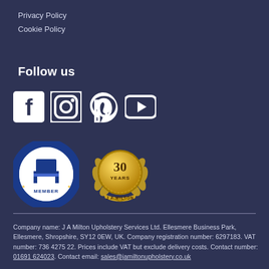Privacy Policy
Cookie Policy
Follow us
[Figure (illustration): Social media icons: Facebook, Instagram, Pinterest, YouTube]
[Figure (logo): The Association of Master Upholsterers & Soft Furnishers - MEMBER badge (circular blue and white logo)]
[Figure (logo): 30 Years J A Milton gold laurel wreath anniversary badge]
Company name: J A Milton Upholstery Services Ltd. Ellesmere Business Park, Ellesmere, Shropshire, SY12 0EW, UK. Company registration number: 6297183. VAT number: 736 4275 22. Prices include VAT but exclude delivery costs. Contact number: 01691 624023. Contact email: sales@jamiltonupholstery.co.uk